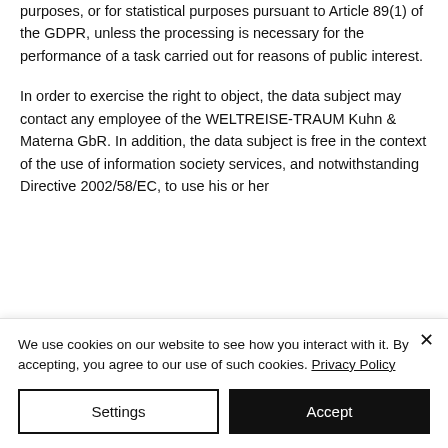purposes, or for statistical purposes pursuant to Article 89(1) of the GDPR, unless the processing is necessary for the performance of a task carried out for reasons of public interest.
In order to exercise the right to object, the data subject may contact any employee of the WELTREISE-TRAUM Kuhn & Materna GbR. In addition, the data subject is free in the context of the use of information society services, and notwithstanding Directive 2002/58/EC, to use his or her
We use cookies on our website to see how you interact with it. By accepting, you agree to our use of such cookies. Privacy Policy